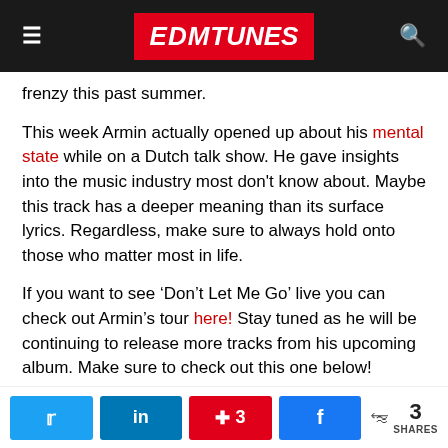EDMTunes
frenzy this past summer.
This week Armin actually opened up about his mental state while on a Dutch talk show. He gave insights into the music industry most don't know about. Maybe this track has a deeper meaning than its surface lyrics. Regardless, make sure to always hold onto those who matter most in life.
If you want to see ‘Don’t Let Me Go’ live you can check out Armin’s tour here! Stay tuned as he will be continuing to release more tracks from his upcoming album. Make sure to check out this one below!